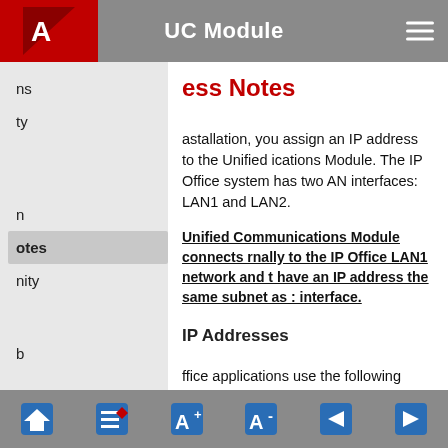UC Module
ess Notes
astallation, you assign an IP address to the Unified ications Module. The IP Office system has two AN interfaces: LAN1 and LAN2.
The Unified Communications Module connects internally to the IP Office LAN1 network and must have an IP address the same subnet as that interface.
IP Addresses
Office applications use the following fixed s for internal connections. You need to be aware as they appear in the IP Office system and one-X IP Office configuration settings.
254.0.1